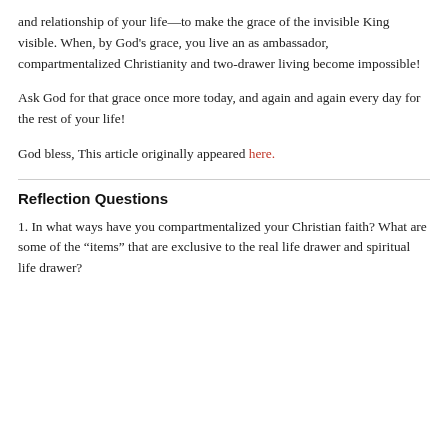and relationship of your life—to make the grace of the invisible King visible. When, by God's grace, you live an as ambassador, compartmentalized Christianity and two-drawer living become impossible!
Ask God for that grace once more today, and again and again every day for the rest of your life!
God bless, This article originally appeared here.
Reflection Questions
1. In what ways have you compartmentalized your Christian faith? What are some of the “items” that are exclusive to the real life drawer and spiritual life drawer?